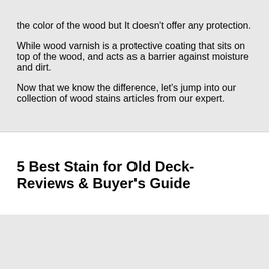the color of the wood but It doesn't offer any protection.
While wood varnish is a protective coating that sits on top of the wood, and acts as a barrier against moisture and dirt.
Now that we know the difference, let's jump into our collection of wood stains articles from our expert.
5 Best Stain for Old Deck- Reviews & Buyer's Guide